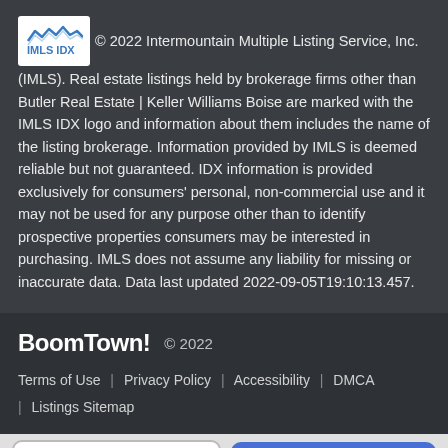© 2022 Intermountain Multiple Listing Service, Inc. (IMLS). Real estate listings held by brokerage firms other than Butler Real Estate | Keller Williams Boise are marked with the IMLS IDX logo and information about them includes the name of the listing brokerage. Information provided by IMLS is deemed reliable but not guaranteed. IDX information is provided exclusively for consumers' personal, non-commercial use and it may not be used for any purpose other than to identify prospective properties consumers may be interested in purchasing. IMLS does not assume any liability for missing or inaccurate data. Data last updated 2022-09-05T19:10:13.457.
BoomTown! © 2022
Terms of Use | Privacy Policy | Accessibility | DMCA | Listings Sitemap
Take a Tour
Ask A Question